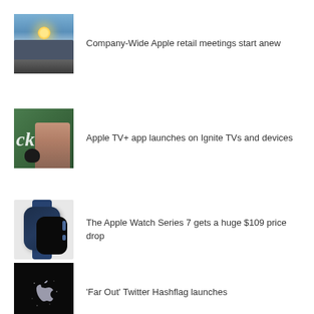[Figure (photo): Apple Park building with sunset sky]
Company-Wide Apple retail meetings start anew
[Figure (photo): Animated character with cat, green background with text 'ck']
Apple TV+ app launches on Ignite TVs and devices
[Figure (photo): Apple Watch Series 7 in blue/navy color]
The Apple Watch Series 7 gets a huge $109 price drop
[Figure (photo): Apple logo on dark/black background for 'Far Out' event]
'Far Out' Twitter Hashflag launches